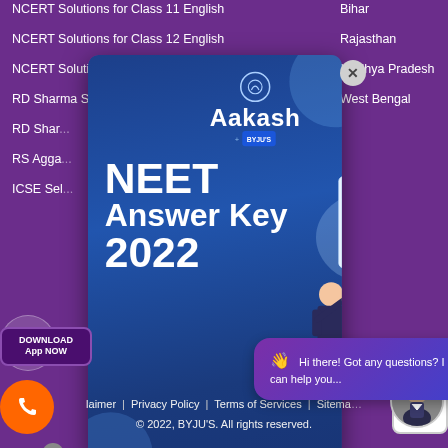NCERT Solutions for Class 11 English
NCERT Solutions for Class 12 English
NCERT Solutions for Class 12
RD Sharma Solutions
RD Shar...
RS Agga...
ICSE Sel...
Bihar
Rajasthan
Madhya Pradesh
West Bengal
[Figure (screenshot): Aakash BYJU'S popup advertisement showing NEET Answer Key 2022 with a download button. Features an illustration of a person with a clipboard and checklist. Dark blue gradient background.]
Hi there! Got any questions? I can help you...
DOWNLOAD App NOW
laimer | Privacy Policy | Terms of Services | Sitema...
© 2022, BYJU'S. All rights reserved.